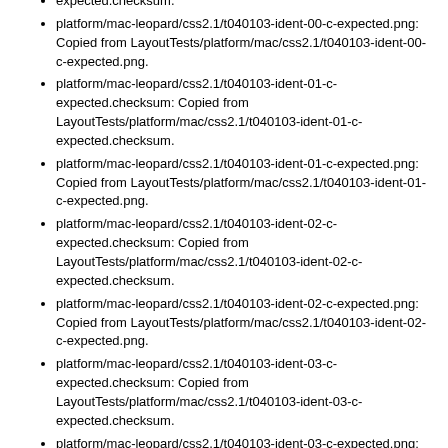expected.checksum.
platform/mac-leopard/css2.1/t040103-ident-00-c-expected.png: Copied from LayoutTests/platform/mac/css2.1/t040103-ident-00-c-expected.png.
platform/mac-leopard/css2.1/t040103-ident-01-c-expected.checksum: Copied from LayoutTests/platform/mac/css2.1/t040103-ident-01-c-expected.checksum.
platform/mac-leopard/css2.1/t040103-ident-01-c-expected.png: Copied from LayoutTests/platform/mac/css2.1/t040103-ident-01-c-expected.png.
platform/mac-leopard/css2.1/t040103-ident-02-c-expected.checksum: Copied from LayoutTests/platform/mac/css2.1/t040103-ident-02-c-expected.checksum.
platform/mac-leopard/css2.1/t040103-ident-02-c-expected.png: Copied from LayoutTests/platform/mac/css2.1/t040103-ident-02-c-expected.png.
platform/mac-leopard/css2.1/t040103-ident-03-c-expected.checksum: Copied from LayoutTests/platform/mac/css2.1/t040103-ident-03-c-expected.checksum.
platform/mac-leopard/css2.1/t040103-ident-03-c-expected.png: Copied from LayoutTests/platform/mac/css2.1/t040103-ident-03-c-expected.png.
platform/mac-leopard/css2.1/t040103-ident-04-c-expected.checksum: Copied from LayoutTests/platform/mac/css2.1/t040103-ident-04-c-expected.checksum.
platform/mac-leopard/css2.1/t040103-ident-04-c-expected.png: Copied from LayoutTests/platform/mac/css2.1/t040103-ident-04-c-expected.png.
platform/mac-leopard/css2.1/t040103-ident-05-c-expected.checksum: Copied from LayoutTests/platform/mac/css2.1/t040103-ident-05-c-expected.checksum.
platform/mac-leopard/css2.1/t040103-ident-05-c-expected.png: Copied